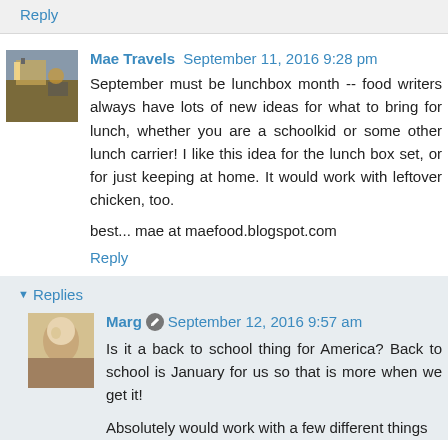Reply
Mae Travels September 11, 2016 9:28 pm
September must be lunchbox month -- food writers always have lots of new ideas for what to bring for lunch, whether you are a schoolkid or some other lunch carrier! I like this idea for the lunch box set, or for just keeping at home. It would work with leftover chicken, too.
best... mae at maefood.blogspot.com
Reply
Replies
Marg September 12, 2016 9:57 am
Is it a back to school thing for America? Back to school is January for us so that is more when we get it!
Absolutely would work with a few different things